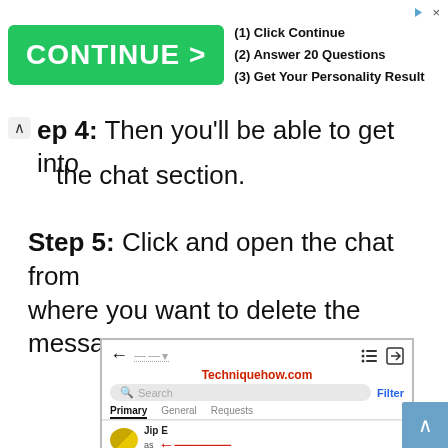[Figure (screenshot): Advertisement banner with green CONTINUE button and text: (1) Click Continue, (2) Answer 20 Questions, (3) Get Your Personality Result]
Step 4: Then you'll be able to get into the chat section.
Step 5: Click and open the chat from where you want to delete the message.
[Figure (screenshot): Screenshot of Facebook Messenger chat list showing back arrow, search bar, Filter button, tabs (Primary selected, General, Requests), and a chat row with 'Jip E' and 'as' with a red arrow pointing to it. Techniquehow.com watermark in red.]